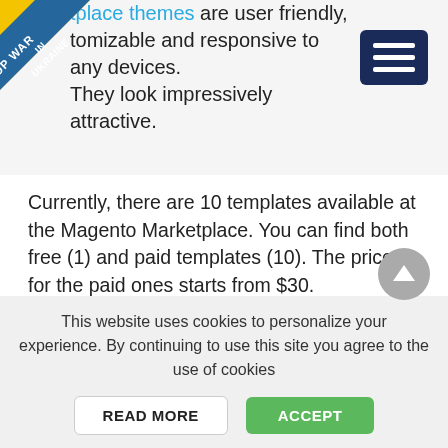[Figure (other): Stop War In Ukraine diagonal badge/ribbon in blue and yellow on top-left corner]
tplace themes are user friendly, tomizable and responsive to any devices. They look impressively attractive.
[Figure (other): Dark navy hamburger menu icon button (three horizontal white lines)]
Currently, there are 10 templates available at the Magento Marketplace. You can find both free (1) and paid templates (10). The price for the paid ones starts from $30.
Additionally, it is possible to download amazing free/paid Magento themes from other marketplaces, e.g., ThemeForest or Template Monster.
This website uses cookies to personalize your experience. By continuing to use this site you agree to the use of cookies
READ MORE
ACCEPT